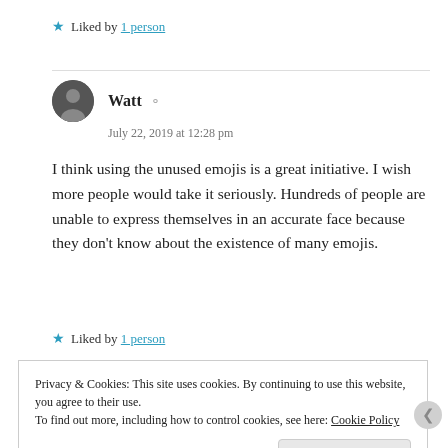★ Liked by 1 person
Watt  July 22, 2019 at 12:28 pm
I think using the unused emojis is a great initiative. I wish more people would take it seriously. Hundreds of people are unable to express themselves in an accurate face because they don't know about the existence of many emojis.
★ Liked by 1 person
Privacy & Cookies: This site uses cookies. By continuing to use this website, you agree to their use. To find out more, including how to control cookies, see here: Cookie Policy
Close and accept